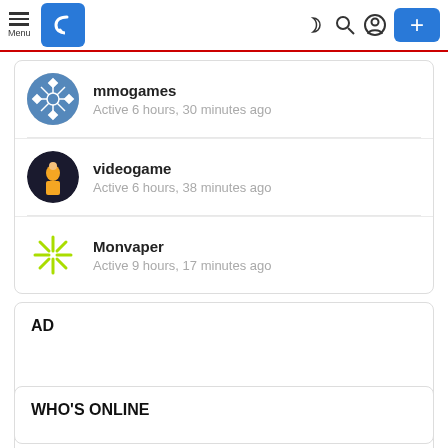Menu | [logo] | [dark mode] [search] [account] | [+ button]
mmogames
Active 6 hours, 30 minutes ago
videogame
Active 6 hours, 38 minutes ago
Monvaper
Active 9 hours, 17 minutes ago
AD
WHO'S ONLINE